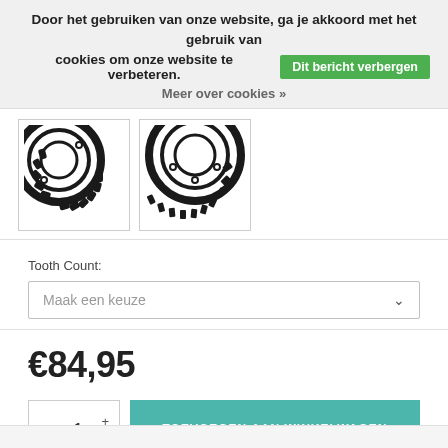Door het gebruiken van onze website, ga je akkoord met het gebruik van cookies om onze website te verbeteren. Dit bericht verbergen Meer over cookies »
[Figure (photo): Two bicycle chainring sprocket images shown as product thumbnails]
Tooth Count:
Maak een keuze
€84,95
1 + - TOEVOEGEN AAN WINKELWAGEN